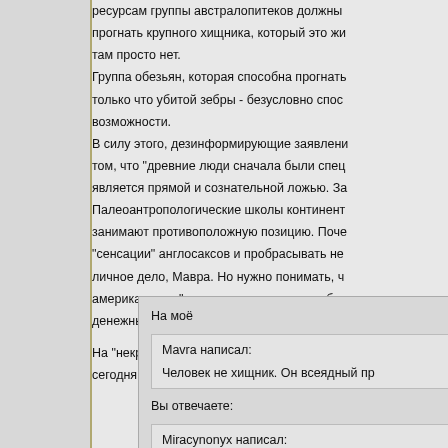ресурсам группы австралопитеков должны прогнать крупного хищника, который это жи там просто нет. Группа обезьян, которая способна прогнать только что убитой зебры - безусловно спос возможности. В силу этого, дезинформирующие заявлени том, что "древние люди сначала были спе является прямой и сознательной ложью. За Палеоантропологические школы континент занимают противоположную позицию. Поче "сенсации" англосаксов и пробрасывать не личное дело, Мавра. Но нужно понимать, ч американском "антропологическом истебли денежные потоки и шум в масс-медиа, мно
На "некрупных животных" размером от крыс сегодняшние шимпанзе - не только не люд
На моё

Mavra написал:

Человек не хищник. Он всеядный пр

Вы отвечаете:

Miracynonyx написал: